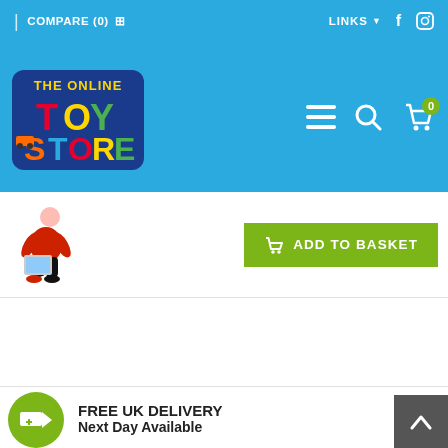COMPARE (0)  |  LINKS  (facebook) (instagram)
[Figure (logo): The Online Toy Store logo with colorful TOY STORE text on a blue background]
[Figure (other): Shopping cart icon with item count badge showing 0, hamburger menu icon, search icon]
[Figure (photo): Small child sitting and playing with a tablet or laptop toy]
ADD TO BASKET
FREE UK DELIVERY
Next Day Available